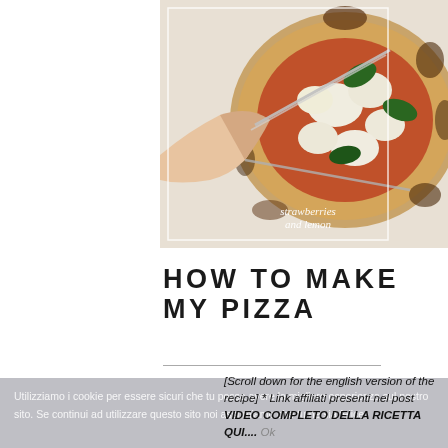[Figure (photo): Close-up photo of a Neapolitan-style pizza being sliced by a hand, with fresh basil leaves on top and melted mozzarella. The pizza is on a marble/stone surface. A 'strawberries and lemon' watermark is visible at the bottom of the image.]
HOW TO MAKE MY PIZZA
[Scroll down for the english version of the recipe] * Link affiliati presenti nel post VIDEO COMPLETO DELLA RICETTA QUI.... Ok
Utilizziamo i cookie per essere sicuri che tu possa avere la migliore esperienza sul nostro sito. Se continui ad utilizzare questo sito noi assumiamo che tu ne sia felice.